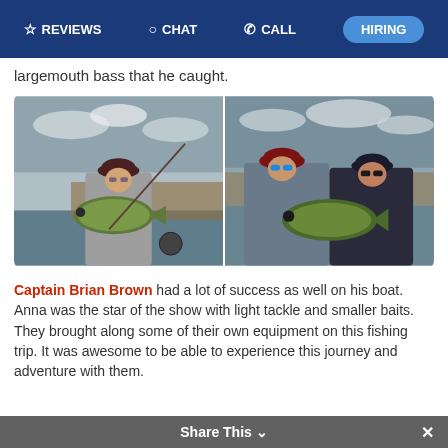REVIEWS  CHAT  CALL  HIRING
largemouth bass that he caught.
[Figure (photo): Two side-by-side fishing photos: left shows a person in a cap holding a large largemouth bass on a boat; right shows two people (one in a cap with blue sunglasses, one in a dark cap with dark sunglasses) holding a large largemouth bass, selfie-style.]
Captain Brian Brown had a lot of success as well on his boat. Anna was the star of the show with light tackle and smaller baits. They brought along some of their own equipment on this fishing trip. It was awesome to be able to experience this journey and adventure with them.